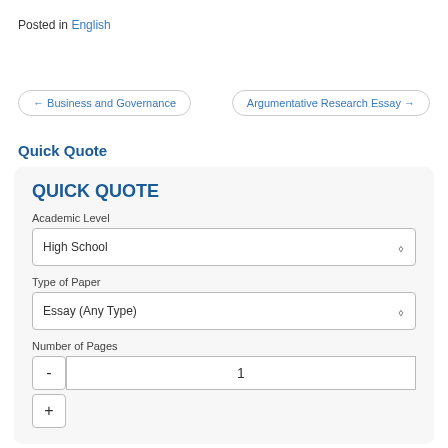Posted in English
← Business and Governance
Argumentative Research Essay →
Quick Quote
QUICK QUOTE
Academic Level
High School
Type of Paper
Essay (Any Type)
Number of Pages
1